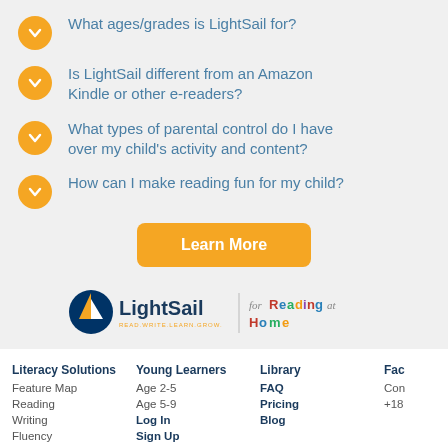What ages/grades is LightSail for?
Is LightSail different from an Amazon Kindle or other e-readers?
What types of parental control do I have over my child's activity and content?
How can I make reading fun for my child?
Learn More
[Figure (logo): LightSail for Reading at Home logo — LightSail logo with a sailboat icon and text 'READ.WRITE.LEARN.GROW.' followed by a divider and colorful text 'for Reading at Home']
Literacy Solutions | Young Learners | Library | Faq
Feature Map | Age 2-5 | FAQ | Con
Reading | Age 5-9 | Pricing | +18
Writing | Log In | Blog
Fluency | Sign Up